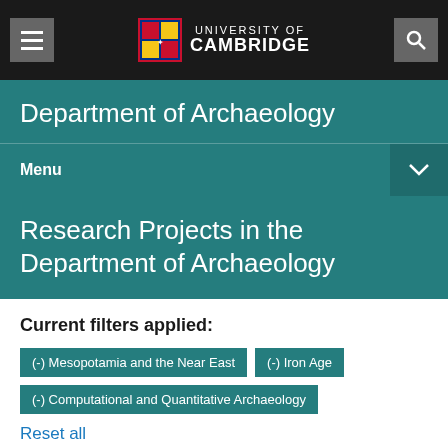UNIVERSITY OF CAMBRIDGE
Department of Archaeology
Menu
Research Projects in the Department of Archaeology
Current filters applied:
(-) Mesopotamia and the Near East
(-) Iron Age
(-) Computational and Quantitative Archaeology
Reset all